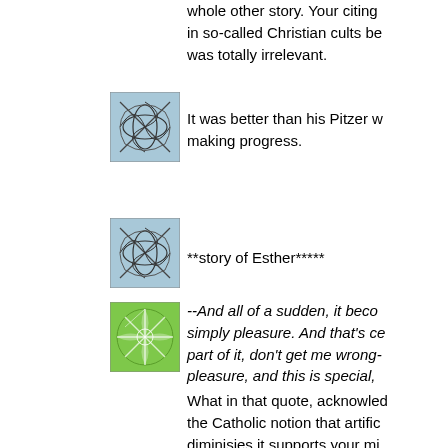whole other story. Your citing in so-called Christian cults be was totally irrelevant.
[Figure (illustration): Small square thumbnail image with blue background showing overlapping curved geometric lines forming an abstract pattern]
It was better than his Pitzer w making progress.
[Figure (illustration): Small square thumbnail image with blue background showing overlapping curved geometric lines forming an abstract pattern, same as above]
**story of Esther*****
[Figure (illustration): Small square thumbnail image with green background showing a star/snowflake geometric pattern]
--And all of a sudden, it beco simply pleasure. And that's ce part of it, don't get me wrong- pleasure, and this is special,
What in that quote, acknowled the Catholic notion that artific diminisjes it supports your mi said?
If you can find a quote from